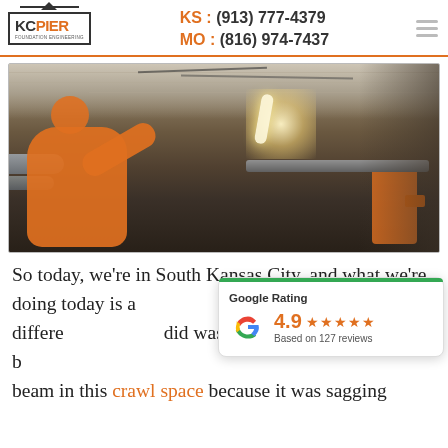KS : (913) 777-4379 | MO : (816) 974-7437
[Figure (photo): Worker in orange jacket working in a crawl space with a work light, orange support bracket visible on right side]
So today, we're in South Kansas City, and what we're doing today is a... so what makes us differe... did was, we put four b... beam in this crawl space because it was sagging
[Figure (infographic): Google Rating popup: 4.9 stars based on 127 reviews]